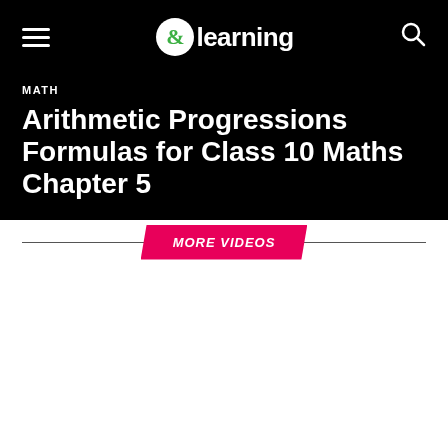&learning
MATH
Arithmetic Progressions Formulas for Class 10 Maths Chapter 5
MORE VIDEOS